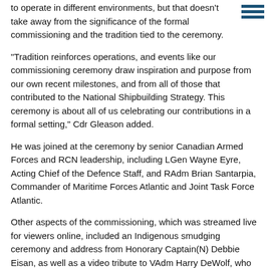...Users have already gotten to know the new platform and proven its ability to operate in different environments, but that doesn't take away from the significance of the formal commissioning and the tradition tied to the ceremony.
“Tradition reinforces operations, and events like our commissioning ceremony draw inspiration and purpose from our own recent milestones, and from all of those that contributed to the National Shipbuilding Strategy. This ceremony is about all of us celebrating our contributions in a formal setting,” Cdr Gleason added.
He was joined at the ceremony by senior Canadian Armed Forces and RCN leadership, including LGen Wayne Eyre, Acting Chief of the Defence Staff, and RAdm Brian Santarpia, Commander of Maritime Forces Atlantic and Joint Task Force Atlantic.
Other aspects of the commissioning, which was streamed live for viewers online, included an Indigenous smudging ceremony and address from Honorary Captain(N) Debbie Eisan, as well as a video tribute to VAdm Harry DeWolf, who is now the first Canadian to serve as the namesake for an RCN ship.
HMCS Haida, the museum ship in Hamilton, Ontario, famously commanded by VAdm DeWolf during the Second World War, participated in the form of a gun salute sent via video message.
Al ... es from Irving Shipbuilding, and The